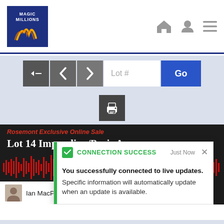[Figure (screenshot): Magic Millions logo — dark blue background with golden flame graphic and white text reading MAGIC MILLIONS]
[Figure (screenshot): Website navigation header bar with back, previous, next buttons, Lot # input field and Go button]
[Figure (screenshot): Print button (printer icon) on light blue/grey background]
[Figure (screenshot): Video player with dark background showing 'Rosemont Exclusive Online Sale' in red italic, 'Lot 14 Impending/Paris Amour' in white, red audio waveform, play button circle, and Ian MacPherson avatar below]
CONNECTION SUCCESS
Just Now
You successfully connected to live updates.
Specific information will automatically update when an update is available.